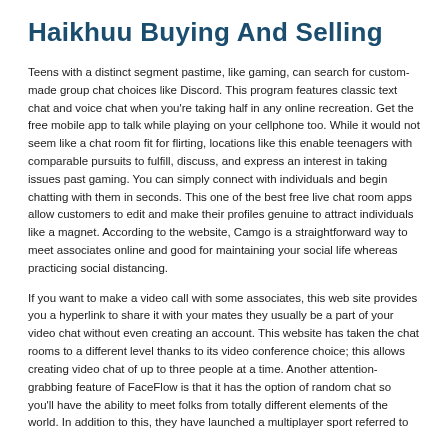Haikhuu Buying And Selling
Teens with a distinct segment pastime, like gaming, can search for custom-made group chat choices like Discord. This program features classic text chat and voice chat when you're taking half in any online recreation. Get the free mobile app to talk while playing on your cellphone too. While it would not seem like a chat room fit for flirting, locations like this enable teenagers with comparable pursuits to fulfill, discuss, and express an interest in taking issues past gaming. You can simply connect with individuals and begin chatting with them in seconds. This one of the best free live chat room apps allow customers to edit and make their profiles genuine to attract individuals like a magnet. According to the website, Camgo is a straightforward way to meet associates online and good for maintaining your social life whereas practicing social distancing.
If you want to make a video call with some associates, this web site provides you a hyperlink to share it with your mates they usually be a part of your video chat without even creating an account. This website has taken the chat rooms to a different level thanks to its video conference choice; this allows creating video chat of up to three people at a time. Another attention-grabbing feature of FaceFlow is that it has the option of random chat so you'll have the ability to meet folks from totally different elements of the world. In addition to this, they have launched a multiplayer sport referred to